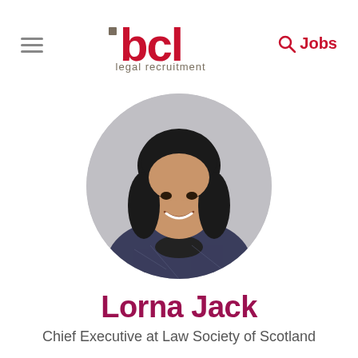bcl legal recruitment — Jobs
[Figure (photo): Circular profile photo of Lorna Jack, a woman with dark shoulder-length hair, smiling, wearing a patterned blazer, set against a light grey background.]
Lorna Jack
Chief Executive at Law Society of Scotland